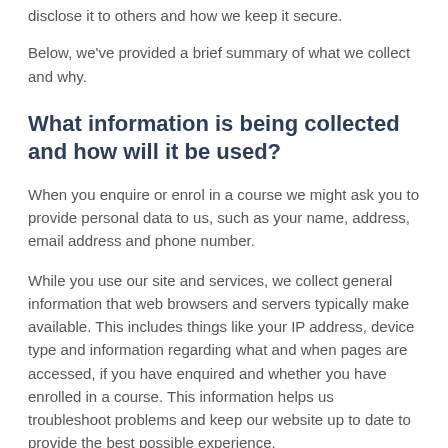disclose it to others and how we keep it secure.
Below, we've provided a brief summary of what we collect and why.
What information is being collected and how will it be used?
When you enquire or enrol in a course we might ask you to provide personal data to us, such as your name, address, email address and phone number.
While you use our site and services, we collect general information that web browsers and servers typically make available. This includes things like your IP address, device type and information regarding what and when pages are accessed, if you have enquired and whether you have enrolled in a course. This information helps us troubleshoot problems and keep our website up to date to provide the best possible experience.